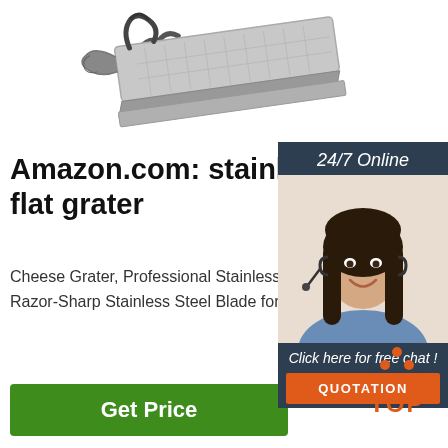[Figure (photo): Stainless steel flat box grater / grater with handle, silver/chrome color, photographed from above at an angle on white background]
Amazon.com: stainless flat grater
Cheese Grater, Professional Stainless Steel Grater with Handle, Flat Handheld Grater - Razor-Sharp Stainless Steel Blade for Hard Fruit, Root Vegetables, Nuts, Cheese & ...
[Figure (photo): Customer service agent - woman with headset smiling, with '24/7 Online' header, 'Click here for free chat!' text, and an orange QUOTATION button, dark navy background panel]
[Figure (logo): TOP logo with orange dots arranged in triangle pattern above 'TOP' text in orange]
Get Price